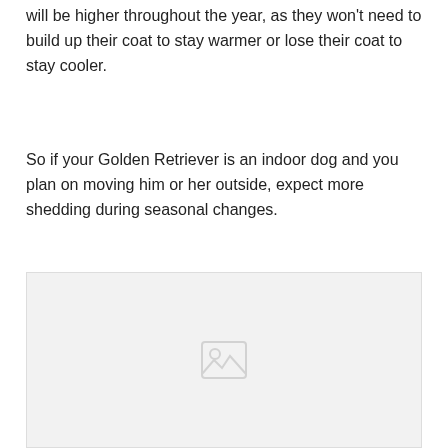will be higher throughout the year, as they won't need to build up their coat to stay warmer or lose their coat to stay cooler.
So if your Golden Retriever is an indoor dog and you plan on moving him or her outside, expect more shedding during seasonal changes.
[Figure (photo): A light gray placeholder image area, likely containing a photo of a Golden Retriever. The image content is not visible.]